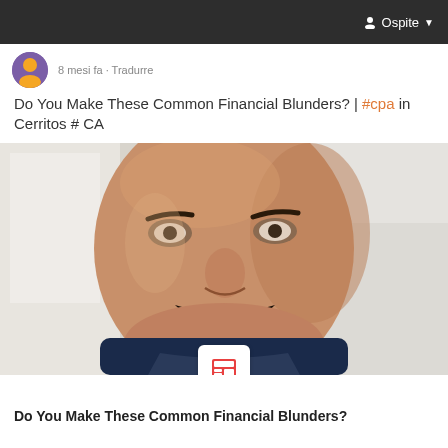Ospite
8 mesi fa · Tradurre
Do You Make These Common Financial Blunders? | #cpa in Cerritos # CA
[Figure (photo): Close-up selfie photo of a man with a mustache wearing a dark jacket, taken indoors with bright lighting in the background]
Do You Make These Common Financial Blunders?